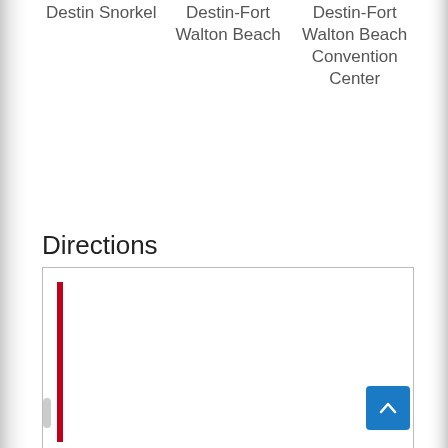Destin Snorkel
Destin-Fort Walton Beach
Destin-Fort Walton Beach Convention Center
Directions
[Figure (other): A white box with a red vertical bar on the left side representing a directions/map panel, with a scroll indicator on the left edge.]